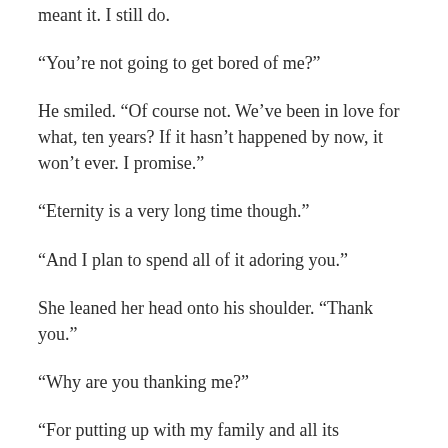meant it. I still do.
“You’re not going to get bored of me?”
He smiled. “Of course not. We’ve been in love for what, ten years? If it hasn’t happened by now, it won’t ever. I promise.”
“Eternity is a very long time though.”
“And I plan to spend all of it adoring you.”
She leaned her head onto his shoulder. “Thank you.”
“Why are you thanking me?”
“For putting up with my family and all its problems, and